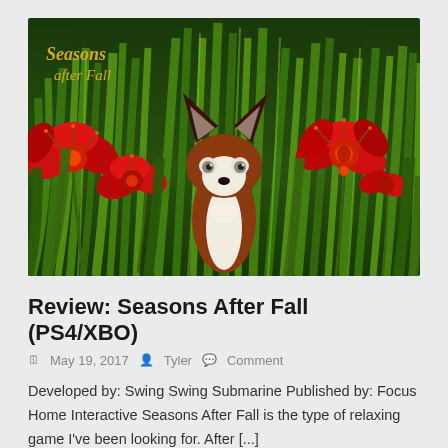[Figure (screenshot): Game screenshot from Seasons After Fall showing an animated fox character with large dark ears and white fur chest, surrounded by tall green grass blades and red poppy-like flowers. The text 'Seasons after Fall' appears in stylized golden/yellow script in the upper left corner.]
Review: Seasons After Fall (PS4/XBO)
May 19, 2017  Tyler  Comment
Developed by: Swing Swing Submarine Published by: Focus Home Interactive Seasons After Fall is the type of relaxing game I've been looking for. After [...]